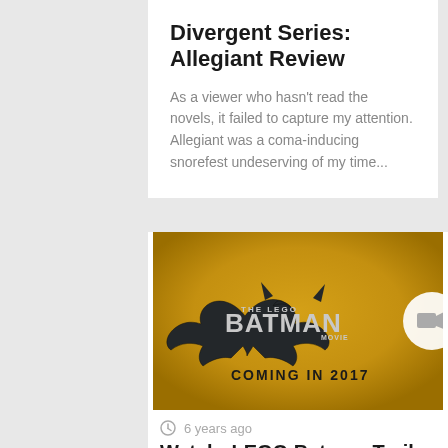Divergent Series: Allegiant Review
As a viewer who hasn't read the novels, it failed to capture my attention. Allegiant was a coma-inducing snorefest undeserving of my time...
[Figure (photo): The LEGO Batman Movie promotional image on yellow/gold background with Batman logo and text 'COMING IN 2017', plus a video camera icon overlay on the right]
6 years ago
Watch: LEGO Batman Trailer